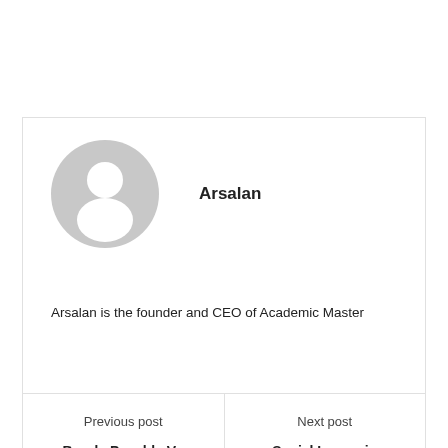[Figure (illustration): Generic grey avatar/profile placeholder icon showing a silhouette of a person with a circular head and rounded body]
Arsalan
Arsalan is the founder and CEO of Academic Master
Previous post
Bonds Payable Vs
Next post
Social Issues in